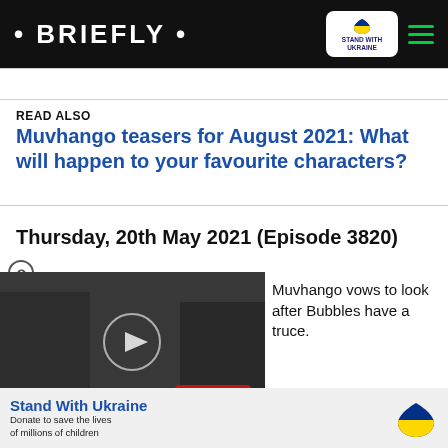• BRIEFLY •
READ ALSO
Muvhango teasers for August 2021: What will happen to your favourite characters?
Thursday, 20th May 2021 (Episode 3820)
[Figure (screenshot): Video thumbnail showing people with text overlay 'WAS THEIR INTIMACY THE PROBLEM?' on a pink/magenta banner, with a play button circle in the center.]
Muvhango vows to look after Bubbles have a truce.
Episode 3821)
[Figure (infographic): Stand With Ukraine donation banner with blue and yellow heart icon, text: Stand With Ukraine - Donate to save the lives of millions of children]